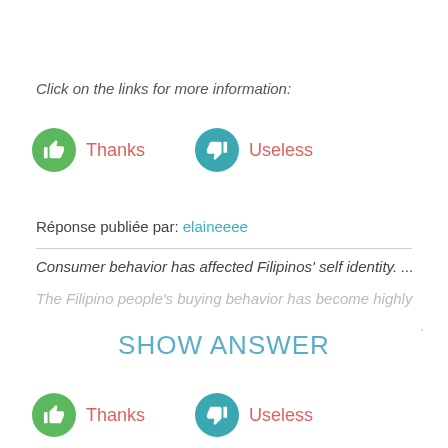Click on the links for more information:
Thanks   Useless
Réponse publiée par: elaineeee
Consumer behavior has affected Filipinos' self identity. ...
The Filipino people's buying behavior has become highly
SHOW ANSWER
Thanks   Useless